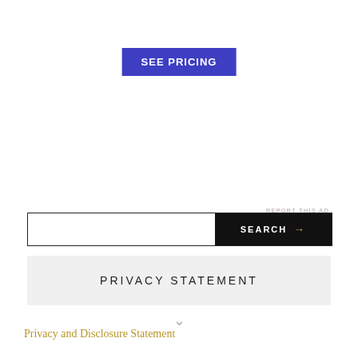[Figure (other): Blue 'SEE PRICING' button, rectangular with white bold text]
REPORT THIS AD
[Figure (other): Search bar with white input field on left and black SEARCH button with gold arrow on right]
PRIVACY STATEMENT
Privacy and Disclosure Statement